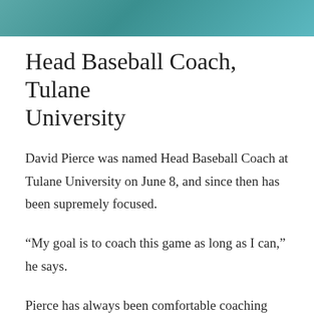[Figure (other): Teal/turquoise decorative header bar at top of page]
Head Baseball Coach, Tulane University
David Pierce was named Head Baseball Coach at Tulane University on June 8, and since then has been supremely focused.
“My goal is to coach this game as long as I can,” he says.
Pierce has always been comfortable coaching baseball. “I’ve always felt comfortable behind